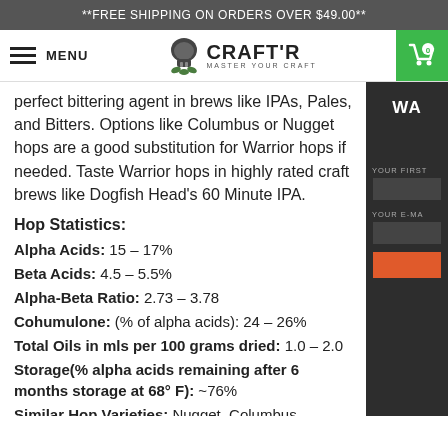**FREE SHIPPING ON ORDERS OVER $49.00**
[Figure (logo): CRAFT'R - MASTER YOUR CRAFT logo with skull icon and hamburger menu, plus green cart icon]
perfect bittering agent in brews like IPAs, Pales, and Bitters. Options like Columbus or Nugget hops are a good substitution for Warrior hops if needed. Taste Warrior hops in highly rated craft brews like Dogfish Head's 60 Minute IPA.
Hop Statistics:
Alpha Acids: 15 – 17%
Beta Acids: 4.5 – 5.5%
Alpha-Beta Ratio: 2.73 – 3.78
Cohumulone: (% of alpha acids): 24 – 26%
Total Oils in mls per 100 grams dried: 1.0 – 2.0
Storage(% alpha acids remaining after 6 months storage at 68° F): ~76%
Similar Hop Varieties: Nugget, Columbus, Magnum